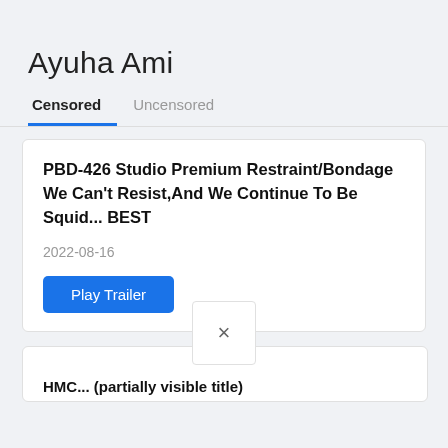Ayuha Ami
Censored | Uncensored
PBD-426 Studio Premium Restraint/Bondage We Can't Resist,And We Continue To Be Squid... BEST
2022-08-16
Play Trailer
[Figure (other): Close/dismiss button overlay (X icon in white box)]
HMC... (second card title, partially visible)